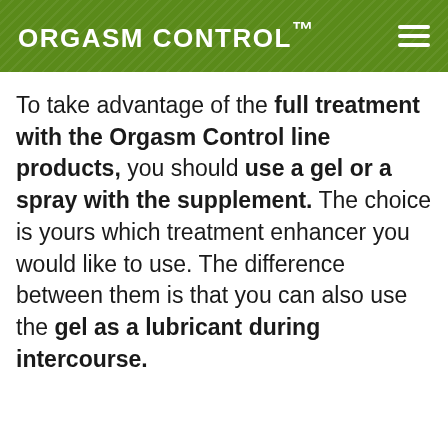ORGASM CONTROL™
To take advantage of the full treatment with the Orgasm Control line products, you should use a gel or a spray with the supplement. The choice is yours which treatment enhancer you would like to use. The difference between them is that you can also use the gel as a lubricant during intercourse.